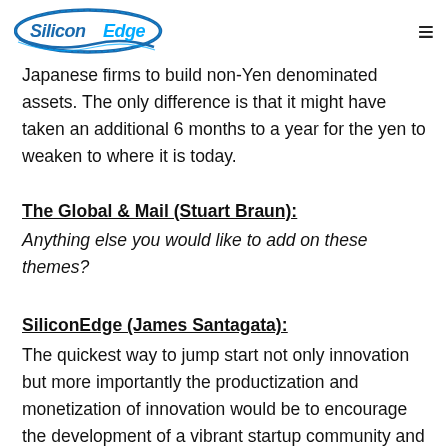SiliconEdge logo and navigation
Japanese firms to build non-Yen denominated assets. The only difference is that it might have taken an additional 6 months to a year for the yen to weaken to where it is today.
The Global & Mail (Stuart Braun):
Anything else you would like to add on these themes?
SiliconEdge (James Santagata):
The quickest way to jump start not only innovation but more importantly the productization and monetization of innovation would be to encourage the development of a vibrant startup community and ecosystem, which would put enormous pressure on the incumbents but